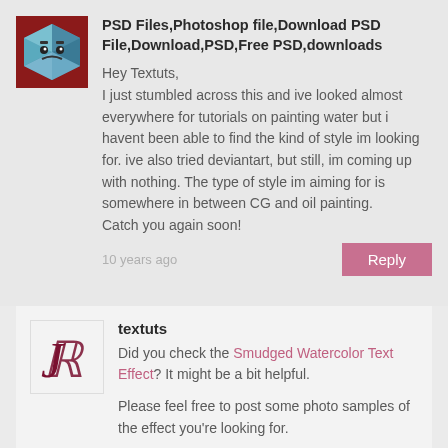[Figure (logo): Avatar image with cartoon character in dark red square]
PSD Files,Photoshop file,Download PSD File,Download,PSD,Free PSD,downloads
Hey Textuts,
I just stumbled across this and ive looked almost everywhere for tutorials on painting water but i havent been able to find the kind of style im looking for. ive also tried deviantart, but still, im coming up with nothing. The type of style im aiming for is somewhere in between CG and oil painting.
Catch you again soon!
10 years ago
[Figure (logo): Textuts logo with stylized JR letters in dark red/maroon]
textuts
Did you check the Smudged Watercolor Text Effect? It might be a bit helpful.
Please feel free to post some photo samples of the effect you're looking for.